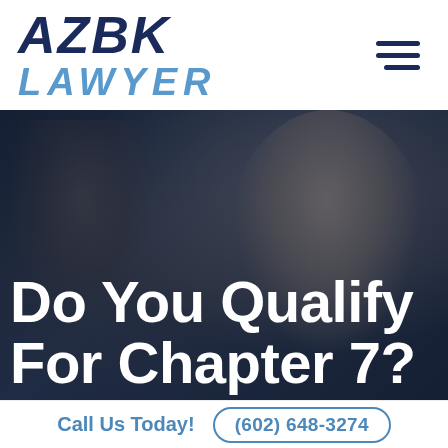[Figure (logo): AZBK LAWYER logo in dark navy and light blue italic bold text]
[Figure (photo): Background hero image of two professionals, a woman smiling in foreground and a man in background, with dark blue overlay. Text overlay reads 'Do You Qualify For Chapter 7?']
Call Us Today!
(602) 648-3274